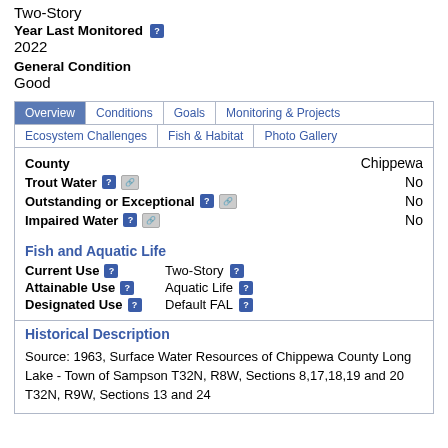Two-Story
Year Last Monitored
2022
General Condition
Good
| County | Chippewa |
| --- | --- |
| Trout Water | No |
| Outstanding or Exceptional | No |
| Impaired Water | No |
Fish and Aquatic Life
| Field | Value |
| --- | --- |
| Current Use | Two-Story |
| Attainable Use | Aquatic Life |
| Designated Use | Default FAL |
Historical Description
Source: 1963, Surface Water Resources of Chippewa County Long Lake - Town of Sampson T32N, R8W, Sections 8,17,18,19 and 20 T32N, R9W, Sections 13 and 24